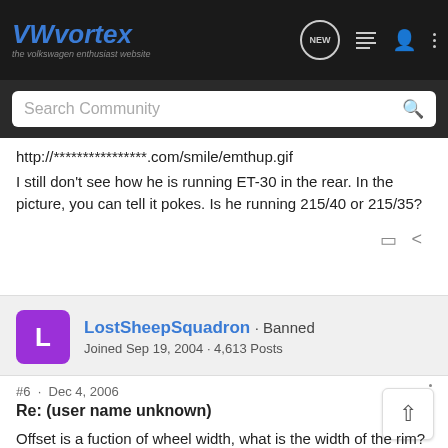VWvortex · the volkswagen enthusiast website
http://****************.com/smile/emthup.gif
I still don't see how he is running ET-30 in the rear. In the picture, you can tell it pokes. Is he running 215/40 or 215/35?
LostSheepSquadron · Banned
Joined Sep 19, 2004 · 4,613 Posts
#6 · Dec 4, 2006
Re: (user name unknown)
Offset is a fuction of wheel width, what is the width of the rim?